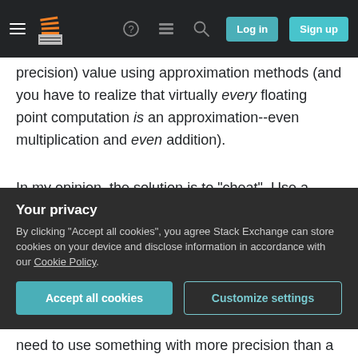Stack Exchange navigation bar with hamburger menu, logo, help, chat, search icons, Log in and Sign up buttons
precision) value using approximation methods (and you have to realize that virtually every floating point computation is an approximation--even multiplication and even addition).
In my opinion, the solution is to "cheat". Use a higher precision structure to calculate the value then round to your lower precision. For instance in C you could use Newton's method with doubles and require a higher precision than float could possibly offer, then cast your answer to a float--this will give the closest float or more precisely, one of the two
Your privacy
By clicking "Accept all cookies", you agree Stack Exchange can store cookies on your device and disclose information in accordance with our Cookie Policy.
need to use something with more precision than a